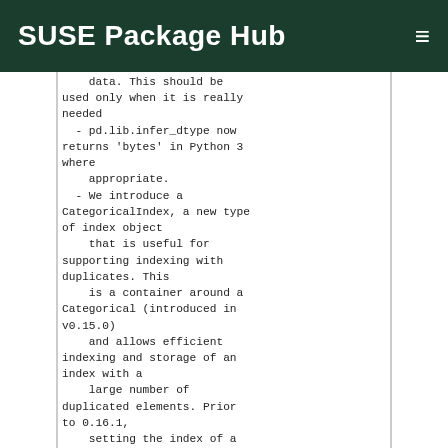SUSE Package Hub
data. This should be used only when it is really needed
  - pd.lib.infer_dtype now returns 'bytes' in Python 3 where
    appropriate.
  - We introduce a CategoricalIndex, a new type of index object
    that is useful for supporting indexing with duplicates. This
    is a container around a Categorical (introduced in v0.15.0)
    and allows efficient indexing and storage of an index with a
    large number of duplicated elements. Prior to 0.16.1,
    setting the index of a DataFrame/Series with a category
    dtype would convert this to regular object-based Index.
  - Series, DataFrames, and Panels now have a new method:
    pandas.DataFrame.sample. The method accepts a specific number